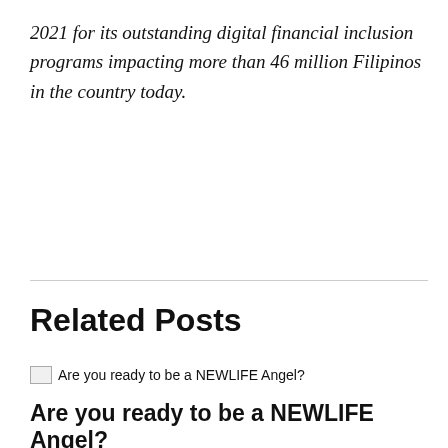2021 for its outstanding digital financial inclusion programs impacting more than 46 million Filipinos in the country today.
Related Posts
[Figure (photo): Broken image thumbnail with alt text: Are you ready to be a NEWLIFE Angel?]
Are you ready to be a NEWLIFE Angel?